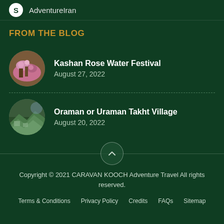AdventureIran
FROM THE BLOG
Kashan Rose Water Festival
August 27, 2022
Oraman or Uraman Takht Village
August 20, 2022
Copyright © 2021 CARAVAN KOOCH Adventure Travel All rights reserved.
Terms & Conditions   Privacy Policy   Credits   FAQs   Sitemap